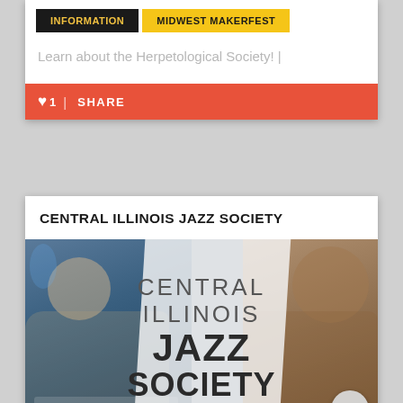[Figure (screenshot): Navigation tabs: INFORMATION (dark background, yellow text) and MIDWEST MAKERFEST (yellow background, dark text)]
Learn about the Herpetological Society! |
❤ 1 |  SHARE
CENTRAL ILLINOIS JAZZ SOCIETY
[Figure (photo): Central Illinois Jazz Society promotional image showing a pianist on the left, a female singer on the right, with large text overlay reading CENTRAL ILLINOIS JAZZ SOCIETY]